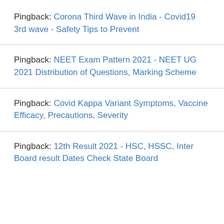Pingback: Corona Third Wave in India - Covid19 3rd wave - Safety Tips to Prevent
Pingback: NEET Exam Pattern 2021 - NEET UG 2021 Distribution of Questions, Marking Scheme
Pingback: Covid Kappa Variant Symptoms, Vaccine Efficacy, Precautions, Severity
Pingback: 12th Result 2021 - HSC, HSSC, Inter Board result Dates Check State Board